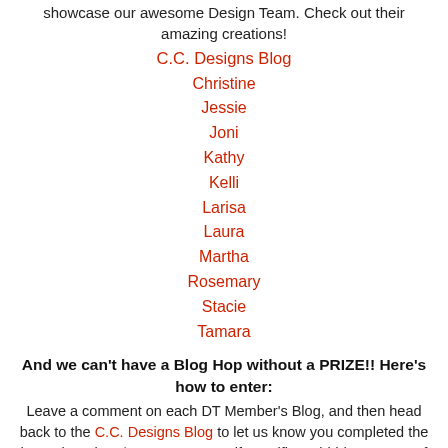showcase our awesome Design Team. Check out their amazing creations!
C.C. Designs Blog
Christine
Jessie
Joni
Kathy
Kelli
Larisa
Laura
Martha
Rosemary
Stacie
Tamara
And we can't have a Blog Hop without a PRIZE!! Here's how to enter:
Leave a comment on each DT Member's Blog, and then head back to the C.C. Designs Blog to let us know you completed the hop. There is a $25 CCD Store Gift Certificate hidden on one of our Design Member's Blog so you definitely want to comment on each blog. :)